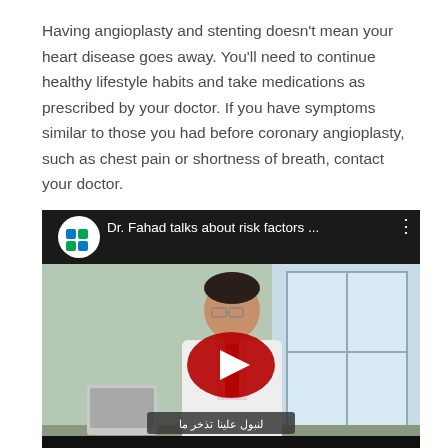Having angioplasty and stenting doesn't mean your heart disease goes away. You'll need to continue healthy lifestyle habits and take medications as prescribed by your doctor. If you have symptoms similar to those you had before coronary angioplasty, such as chest pain or shortness of breath, contact your doctor.
[Figure (screenshot): YouTube video thumbnail showing Dr. Fahad in a white coat standing in a hospital corridor. The video title reads 'Dr. Fahad talks about risk factors ...' with a YouTube play button overlay. Arabic subtitle text visible at the bottom.]